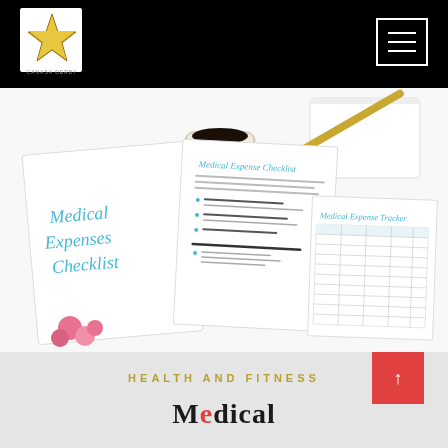CANASA DERBY (logo with star)
[Figure (photo): Flat lay photo showing Medical Expenses Checklist documents with handwritten-style blue text titles, a Medical Expense Tracker table, coffee cup, gold pen, notepad, and pink flowers on white background]
HEALTH AND FITNESS
Medical...